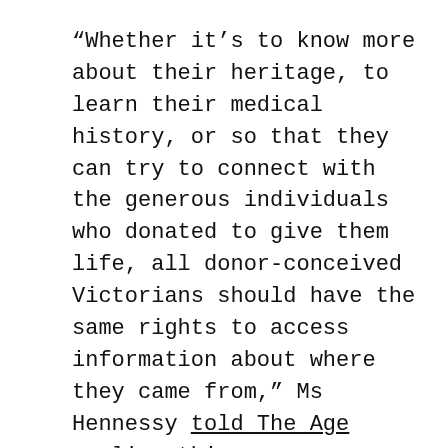“Whether it’s to know more about their heritage, to learn their medical history, or so that they can try to connect with the generous individuals who donated to give them life, all donor-conceived Victorians should have the same rights to access information about where they came from,” Ms Hennessy told The Age earlier this year.

But many sperm donors are angry that the promise of anonymity has now been rendered retrospectively invalid. Ian Morrison said his decision to donate in the mid-1970s would